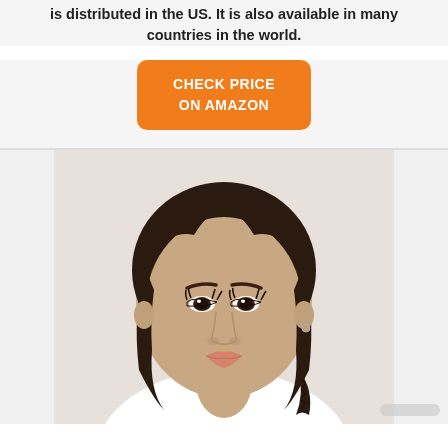is distributed in the US. It is also available in many countries in the world.
[Figure (other): Orange rounded rectangle button with white bold text reading CHECK PRICE ON AMAZON]
[Figure (photo): Woman with dark hair in a braid, wearing makeup, looking slightly to the side, with a RUNNER UP diagonal ribbon badge in the top-left corner]